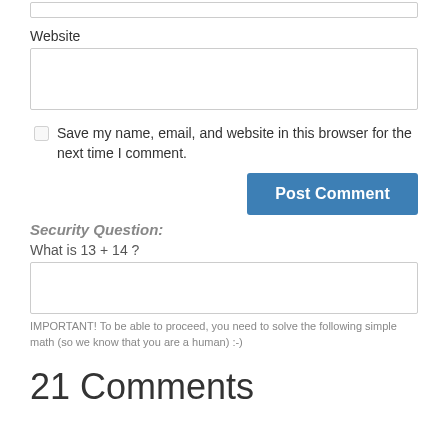Website
Save my name, email, and website in this browser for the next time I comment.
Post Comment
Security Question:
What is 13 + 14 ?
IMPORTANT! To be able to proceed, you need to solve the following simple math (so we know that you are a human) :-)
21 Comments